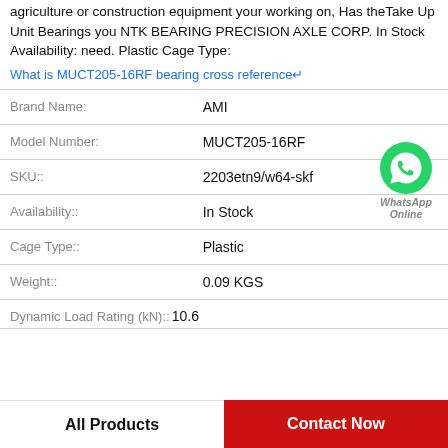agriculture or construction equipment your working on, Has theTake Up Unit Bearings you NTK BEARING PRECISION AXLE CORP. In Stock Availability: need. Plastic Cage Type:
What is MUCT205-16RF bearing cross reference↵
| Field | Value |
| --- | --- |
| Brand Name: | AMI |
| Model Number: | MUCT205-16RF |
| SKU:: | 2203etn9/w64-skf |
| Availability:: | In Stock |
| Cage Type:: | Plastic |
| Weight:: | 0.09 KGS |
| Dynamic Load Rating (kN):: | 10.6 |
[Figure (logo): WhatsApp Online green phone icon with text 'WhatsApp Online']
All Products
Contact Now